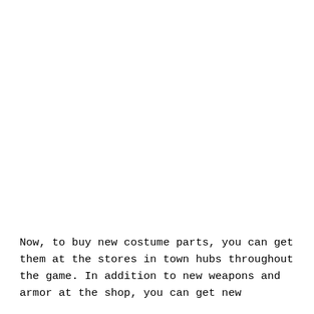Now, to buy new costume parts, you can get them at the stores in town hubs throughout the game. In addition to new weapons and armor at the shop, you can get new